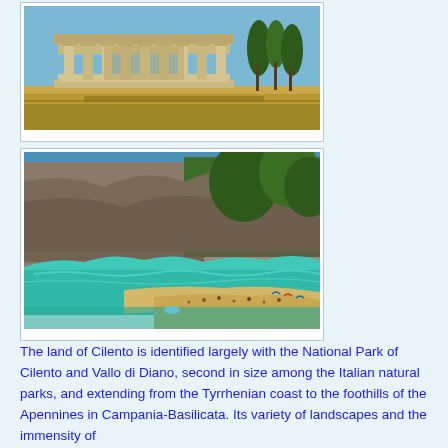[Figure (photo): Ancient Greek temple ruins (likely Paestum) with standing columns against a blue sky, surrounded by dry grass and trees in the background.]
[Figure (photo): Scenic coastal beach cove with turquoise water, rocky cliffs covered in green vegetation, and beachgoers on a sandy beach.]
The land of Cilento is identified largely with the National Park of Cilento and Vallo di Diano, second in size among the Italian natural parks, and extending from the Tyrrhenian coast to the foothills of the Apennines in Campania-Basilicata. Its variety of landscapes and the immensity of